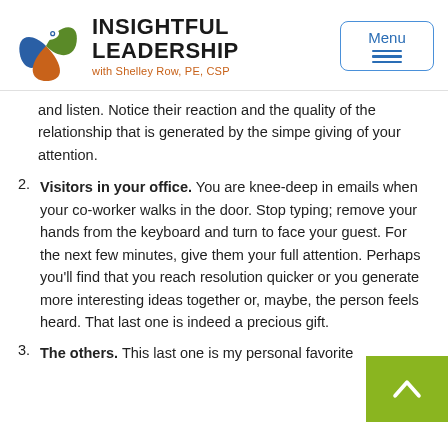[Figure (logo): Insightful Leadership logo with eye/leaf graphic in blue, green, and orange, with text 'INSIGHTFUL LEADERSHIP with Shelley Row, PE, CSP']
and listen. Notice their reaction and the quality of the relationship that is generated by the simple giving of your attention.
2. Visitors in your office. You are knee-deep in emails when your co-worker walks in the door. Stop typing; remove your hands from the keyboard and turn to face your guest. For the next few minutes, give them your full attention. Perhaps you'll find that you reach resolution quicker or you generate more interesting ideas together or, maybe, the person feels heard. That last one is indeed a precious gift.
3. The others. This last one is my personal favorite